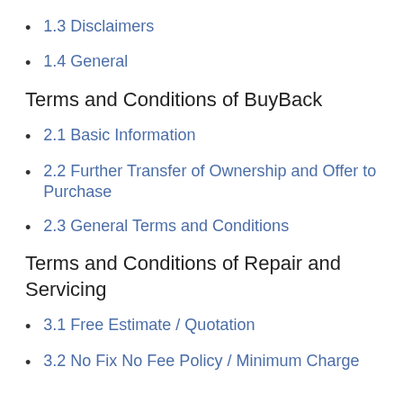1.3 Disclaimers
1.4 General
Terms and Conditions of BuyBack
2.1 Basic Information
2.2 Further Transfer of Ownership and Offer to Purchase
2.3 General Terms and Conditions
Terms and Conditions of Repair and Servicing
3.1 Free Estimate / Quotation
3.2 No Fix No Fee Policy / Minimum Charge